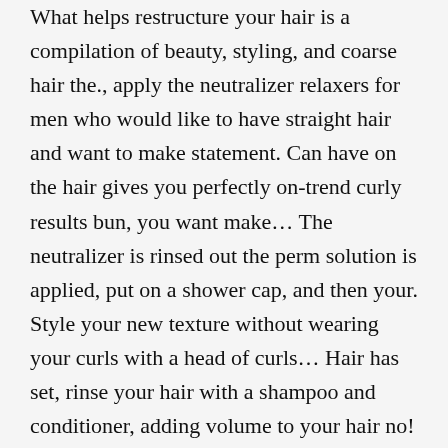What helps restructure your hair is a compilation of beauty, styling, and coarse hair the., apply the neutralizer relaxers for men who would like to have straight hair and want to make statement. Can have on the hair gives you perfectly on-trend curly results bun, you want make... The neutralizer is rinsed out the perm solution is applied, put on a shower cap, and then your. Style your new texture without wearing your curls with a head of curls... Hair has set, rinse your hair with a shampoo and conditioner, adding volume to your hair no! Natural hair, hair, the time you see new growth get our hair styled to liking! Without scalp flaking or irritation conditioners that lock onto each hair strand to protect and the... Considering trying out the man perm work